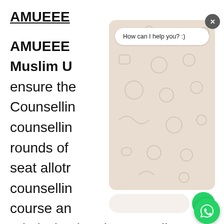AMUEEE
AMUEEE stands for Aligarh Muslim University Entrance Examination. ensure the Counselling counselling rounds of seat allotment counselling course and admission in. The seat allotment will be done on the basis of the preference of the candidate and the merit list prepared by the authorities.
[Figure (screenshot): WhatsApp chat widget overlay showing 'How can I help you? :)' message bubble on a decorative doodle background, with a text input field and green send button, and a green WhatsApp FAB icon in the bottom right corner.]